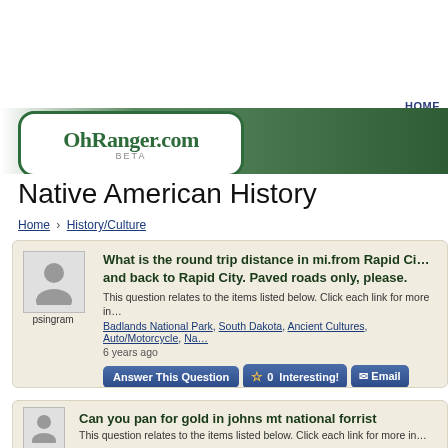OhRanger.com BETA
HOME
Native American History
Home › History/Culture
What is the round trip distance in mi.from Rapid City and back to Rapid City. Paved roads only, please.
This question relates to the items listed below. Click each link for more in...
Badlands National Park, South Dakota, Ancient Cultures, Auto/Motorcycle, Na...
6 years ago
psingram
Can you pan for gold in johns mt national forrist
This question relates to the items listed below. Click each link for more in...